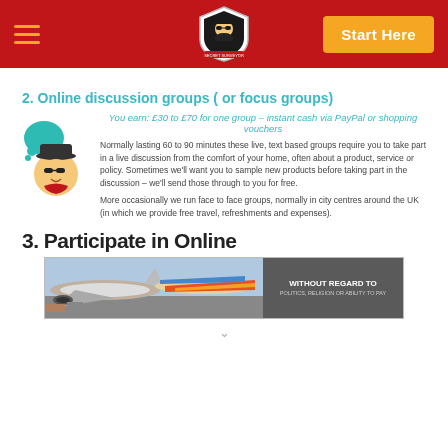Navigation header with hamburger menu, logo, and Start Here button
2. Online discussion groups ( or focus groups)
You earn: £30 to £70 for one group – instant cash via PayPal or shopping vouchers
[Figure (illustration): Cartoon illustration of a person with sunglasses and a thought bubble]
Normally lasting 60 to 90 minutes these live, text based groups require you to take part in a live discussion from the comfort of your home, often about a product, service or policy. Sometimes we'll want you to sample new products before taking part in the discussion – we'll send those through to you for free.
More occasionally we run face to face groups, normally in city centres around the UK (in which we provide free travel, refreshments and expenses).
3. Participate in Online
[Figure (photo): Advertisement banner showing cargo planes with text WITHOUT REGARD TO POLITICS, RELIGION OR ABILITY TO PAY]